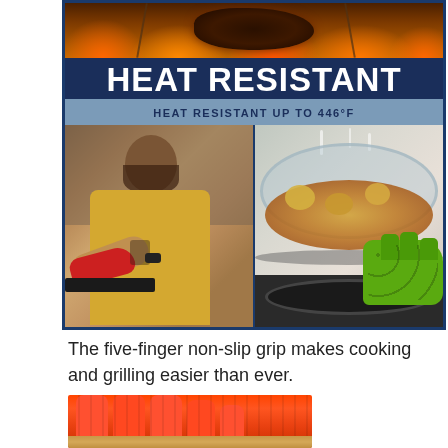[Figure (photo): Composite product infographic showing 'HEAT RESISTANT' banner over dark navy background, with 'HEAT RESISTANT UP TO 446°F' subtitle, flanked by two photos: left shows a bearded man in yellow shirt using red oven mitts to handle a baking tray; right shows green silicone oven mitts holding a glass pan lid with food cooking inside. Top strip shows grilling/BBQ with flames.]
The five-finger non-slip grip makes cooking and grilling easier than ever.
[Figure (photo): Close-up of red/orange silicone oven mitts with finger texture detail, resting on a wooden surface.]